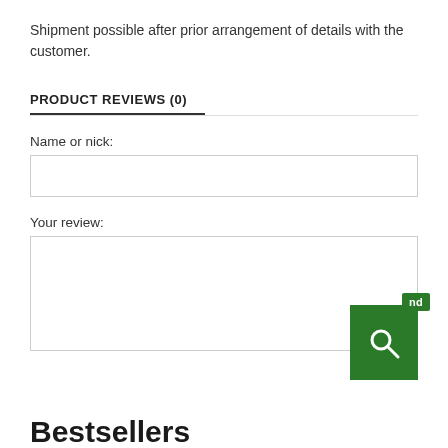Shipment possible after prior arrangement of details with the customer.
PRODUCT REVIEWS (0)
Name or nick:
Your review:
[Figure (screenshot): Green search button with magnifying glass icon and 'nd' badge overlay]
Bestsellers